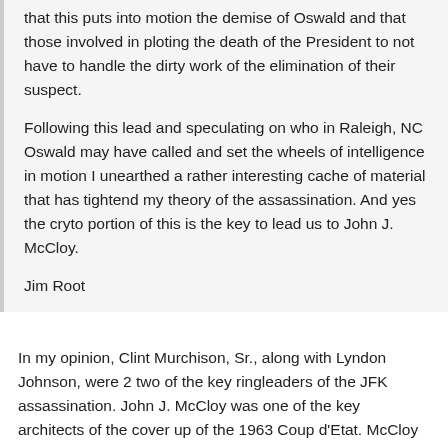that this puts into motion the demise of Oswald and that those involved in ploting the death of the President to not have to handle the dirty work of the elimination of their suspect.
Following this lead and speculating on who in Raleigh, NC Oswald may have called and set the wheels of intelligence in motion I unearthed a rather interesting cache of material that has tightend my theory of the assassination. And yes the cryto portion of this is the key to lead us to John J. McCloy.
Jim Root
In my opinion, Clint Murchison, Sr., along with Lyndon Johnson, were 2 two of the key ringleaders of the JFK assassination. John J. McCloy was one of the key architects of the cover up of the 1963 Coup d'Etat. McCloy was so close to both Texas oil barons and the pinnacle of US intelligence, folks like Allen Dulles, that he MUST at least be considered a suspect in the JFK assassination plotting.